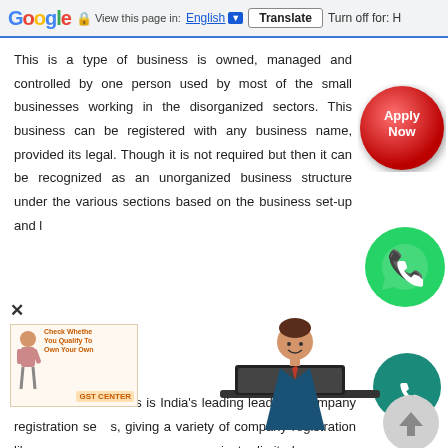Google  View this page in: English  Translate  Turn off for: H
This is a type of business is owned, managed and controlled by one person used by most of the small businesses working in the disorganized sectors. This business can be registered with any business name, provided its legal. Though it is not required but then it can be recognized as an unorganized business structure under the various sections based on the business set-up and l...
[Figure (illustration): Red circular Apply Now button]
GST Suvidha Centers is India's leading leader in company registration services, giving a variety of company registration like one person company registration, private limited company registration, Section 8 Company, Nidhi Company Registration etc.
[Figure (illustration): Green WhatsApp icon circle]
[Figure (illustration): Dark green phone icon circle]
[Figure (illustration): Grey up-arrow scroll button]
[Figure (illustration): Illustration of a businessman sitting at a desk with a computer]
[Figure (illustration): Close X button and small GST Center popup ad with cartoon figure and text: Check Whether You Qualify To Own Your Own GST CENTER]